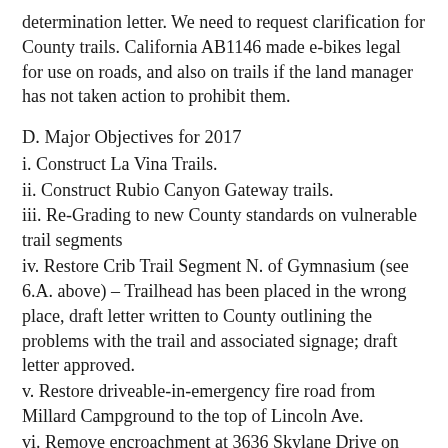determination letter. We need to request clarification for County trails. California AB1146 made e-bikes legal for use on roads, and also on trails if the land manager has not taken action to prohibit them.
D. Major Objectives for 2017
i. Construct La Vina Trails.
ii. Construct Rubio Canyon Gateway trails.
iii. Re-Grading to new County standards on vulnerable trail segments
iv. Restore Crib Trail Segment N. of Gymnasium (see 6.A. above) – Trailhead has been placed in the wrong place, draft letter written to County outlining the problems with the trail and associated signage; draft letter approved.
v. Restore driveable-in-emergency fire road from Millard Campground to the top of Lincoln Ave.
vi. Remove encroachment at 3636 Skylane Drive on Canon. Update: the trail is being blocked by sweepings from the property owner's stable.